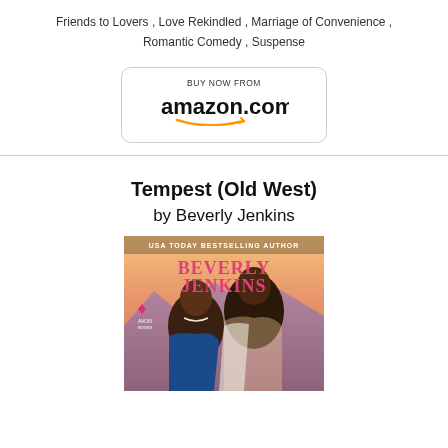Friends to Lovers , Love Rekindled , Marriage of Convenience , Romantic Comedy , Suspense
[Figure (other): Buy Now From amazon.com button with Amazon logo and smile arrow]
Tempest (Old West)
by Beverly Jenkins
[Figure (photo): Book cover of Tempest (Old West) by Beverly Jenkins published by Avon Books, showing a Black woman and a Black man in an intimate pose against a sunset background, with text 'USA TODAY BESTSELLING AUTHOR' and 'BEVERLY JENKINS' in pink letters]